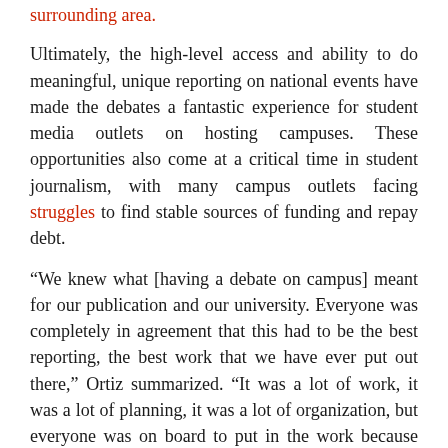surrounding area.
Ultimately, the high-level access and ability to do meaningful, unique reporting on national events have made the debates a fantastic experience for student media outlets on hosting campuses. These opportunities also come at a critical time in student journalism, with many campus outlets facing struggles to find stable sources of funding and repay debt.
“We knew what [having a debate on campus] meant for our publication and our university. Everyone was completely in agreement that this had to be the best reporting, the best work that we have ever put out there,” Ortiz summarized. “It was a lot of work, it was a lot of planning, it was a lot of organization, but everyone was on board to put in the work because they knew what it meant for us and our university.”
Often, student journalists do not have the resources, staff,